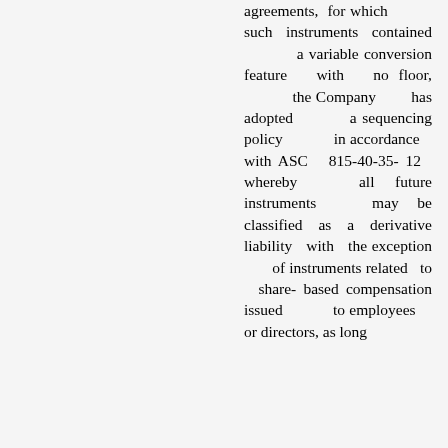agreements, for which such instruments contained a variable conversion feature with no floor, the Company has adopted a sequencing policy in accordance with ASC 815-40-35-12 whereby all future instruments may be classified as a derivative liability with the exception of instruments related to share-based compensation issued to employees or directors, as long